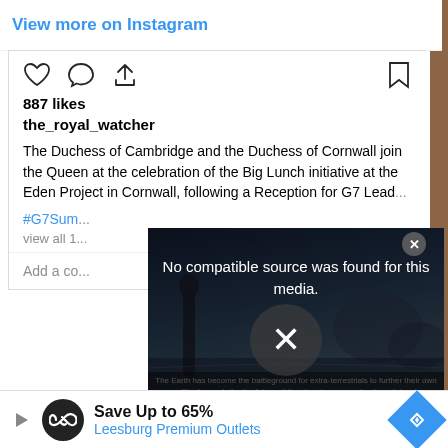View more on Instagram
[Figure (screenshot): Instagram post action icons: heart, comment, share (left); bookmark (right)]
887 likes
the_royal_watcher
The Duchess of Cambridge and the Duchess of Cornwall join the Queen at the celebration of the Big Lunch initiative at the Eden Project in Cornwall, following a Reception for G7 Lead...
#G7Sum...
view all 1...
Add a co...
[Figure (screenshot): Video overlay modal showing 'No compatible source was found for this media.' with an X button and a sci-fi background image with subtitle text about extra-terrestrials]
Embed from ...
[Figure (screenshot): Black video player bar showing 1/4 counter]
[Figure (screenshot): Advertisement banner: Save Up to 65% Leesburg Premium Outlets]